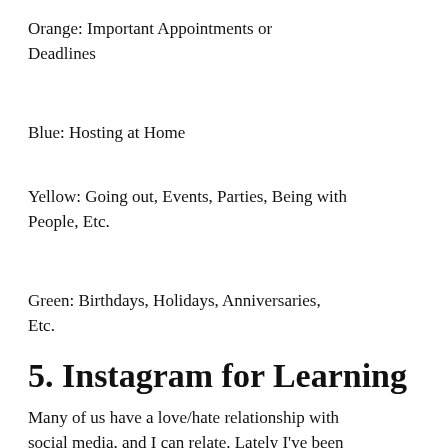Orange: Important Appointments or Deadlines
Blue: Hosting at Home
Yellow: Going out, Events, Parties, Being with People, Etc.
Green: Birthdays, Holidays, Anniversaries, Etc.
5. Instagram for Learning
Many of us have a love/hate relationship with social media, and I can relate. Lately I've been